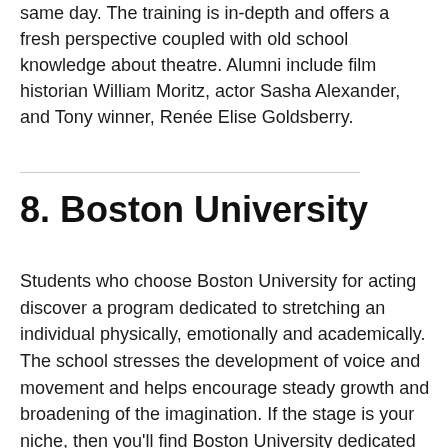same day. The training is in-depth and offers a fresh perspective coupled with old school knowledge about theatre. Alumni include film historian William Moritz, actor Sasha Alexander, and Tony winner, Renée Elise Goldsberry.
8. Boston University
Students who choose Boston University for acting discover a program dedicated to stretching an individual physically, emotionally and academically. The school stresses the development of voice and movement and helps encourage steady growth and broadening of the imagination. If the stage is your niche, then you'll find Boston University dedicated to performance. An Acting major will work behind the